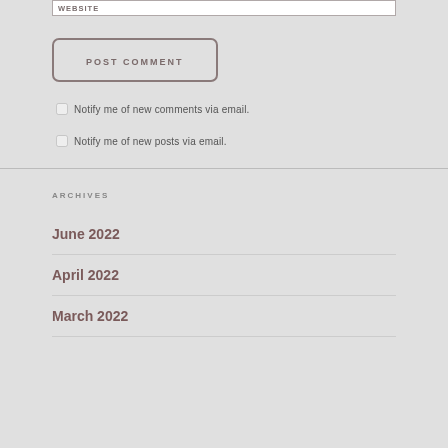WEBSITE
POST COMMENT
Notify me of new comments via email.
Notify me of new posts via email.
ARCHIVES
June 2022
April 2022
March 2022